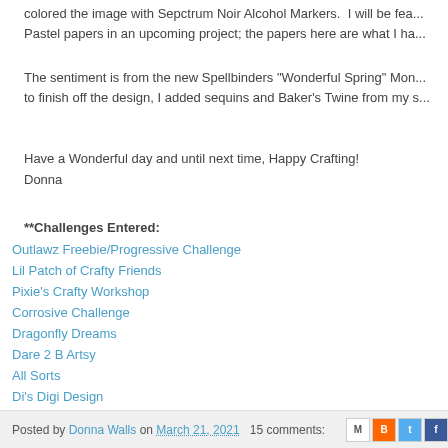colored the image with Sepctrum Noir Alcohol Markers. I will be featuring the Pastel papers in an upcoming project; the papers here are what I ha...
The sentiment is from the new Spellbinders "Wonderful Spring" Mon... to finish off the design, I added sequins and Baker's Twine from my s...
Have a Wonderful day and until next time, Happy Crafting!
Donna
**Challenges Entered:
Outlawz Freebie/Progressive Challenge
Lil Patch of Crafty Friends
Pixie's Crafty Workshop
Corrosive Challenge
Dragonfly Dreams
Dare 2 B Artsy
All Sorts
Di's Digi Design
Send a Smile 4 Kids
Alphabet Challenge
Posted by Donna Walls on March 21, 2021  15 comments: